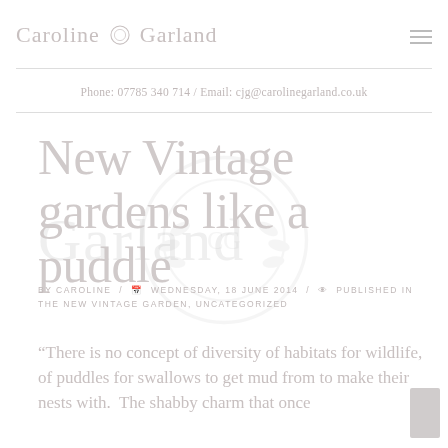Caroline Garland
Phone: 07785 340 714 / Email: cjg@carolinegarland.co.uk
New Vintage gardens like a puddle
BY CAROLINE / WEDNESDAY, 18 JUNE 2014 / PUBLISHED IN THE NEW VINTAGE GARDEN, UNCATEGORIZED
“There is no concept of diversity of habitats for wildlife, of puddles for swallows to get mud from to make their nests with.  The shabby charm that once